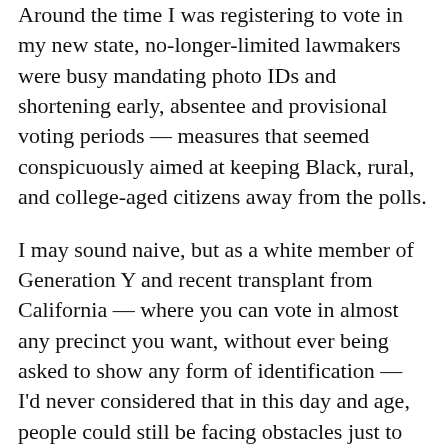Around the time I was registering to vote in my new state, no-longer-limited lawmakers were busy mandating photo IDs and shortening early, absentee and provisional voting periods — measures that seemed conspicuously aimed at keeping Black, rural, and college-aged citizens away from the polls.
I may sound naive, but as a white member of Generation Y and recent transplant from California — where you can vote in almost any precinct you want, without ever being asked to show any form of identification — I'd never considered that in this day and age, people could still be facing obstacles just to get to the polls.
Shortened voting periods serve to complicate poll-going, particularly if you happen to work a ten-hour-a-day, blue-collar job. Also, we all know driver's licenses don't come free (remember poll taxes?), and many rural North Carolinians were never actually granted time-specific birth certificates, nor social